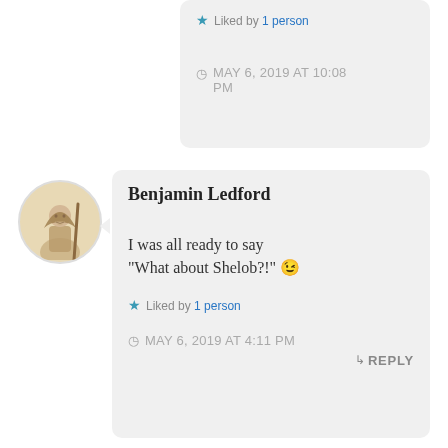Liked by 1 person
MAY 6, 2019 AT 10:08 PM
[Figure (illustration): Circular avatar showing a sepia-toned illustration of a robed figure holding a staff]
Benjamin Ledford
I was all ready to say "What about Shelob?!" 😉
Liked by 1 person
MAY 6, 2019 AT 4:11 PM
REPLY